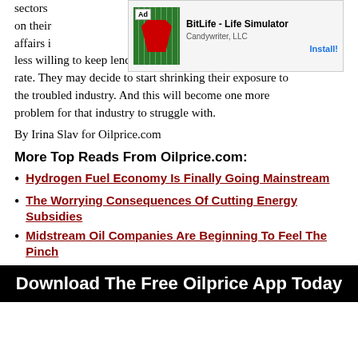sectors default on their ... rate of affairs in the industry persists, banks may become much less willing to keep lending to oil companies at the current rate. They may decide to start shrinking their exposure to the troubled industry. And this will become one more problem for that industry to struggle with.
[Figure (other): Advertisement banner for BitLife - Life Simulator by Candywriter, LLC with an Install button]
By Irina Slav for Oilprice.com
More Top Reads From Oilprice.com:
Hydrogen Fuel Economy Is Finally Going Mainstream
The Worrying Consequences Of Cutting Energy Subsidies
Midstream Oil Companies Are Beginning To Feel The Pinch
Download The Free Oilprice App Today